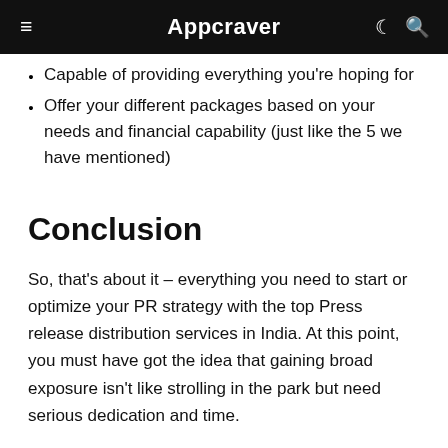Appcraver
Capable of providing everything you're hoping for
Offer your different packages based on your needs and financial capability (just like the 5 we have mentioned)
Conclusion
So, that's about it – everything you need to start or optimize your PR strategy with the top Press release distribution services in India. At this point, you must have got the idea that gaining broad exposure isn't like strolling in the park but need serious dedication and time.